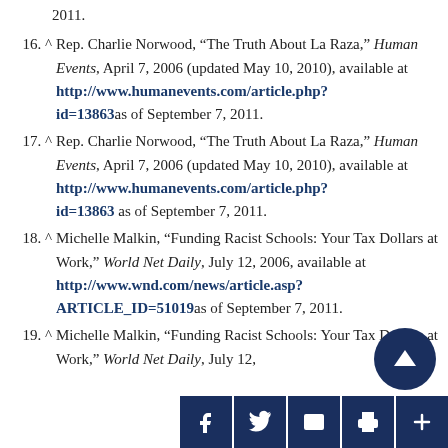2011.
16. ^ Rep. Charlie Norwood, “The Truth About La Raza,” Human Events, April 7, 2006 (updated May 10, 2010), available at http://www.humanevents.com/article.php?id=13863 as of September 7, 2011.
17. ^ Rep. Charlie Norwood, “The Truth About La Raza,” Human Events, April 7, 2006 (updated May 10, 2010), available at http://www.humanevents.com/article.php?id=13863 as of September 7, 2011.
18. ^ Michelle Malkin, “Funding Racist Schools: Your Tax Dollars at Work,” World Net Daily, July 12, 2006, available at http://www.wnd.com/news/article.asp?ARTICLE_ID=51019 as of September 7, 2011.
19. ^ Michelle Malkin, “Funding Racist Schools: Your Tax Dollars at Work,” World Net Daily, July 12, ...